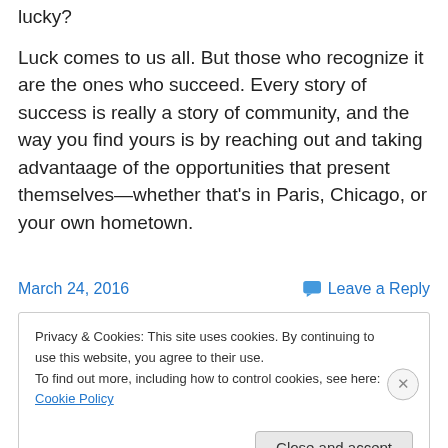lucky?
Luck comes to us all. But those who recognize it are the ones who succeed. Every story of success is really a story of community, and the way you find yours is by reaching out and taking advantaage of the opportunities that present themselves—whether that's in Paris, Chicago, or your own hometown.
March 24, 2016
Leave a Reply
Privacy & Cookies: This site uses cookies. By continuing to use this website, you agree to their use.
To find out more, including how to control cookies, see here: Cookie Policy
Close and accept